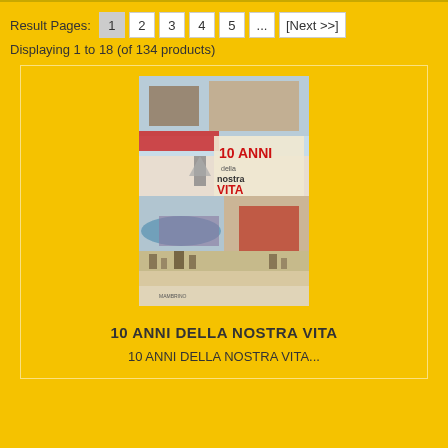Result Pages:  1  2  3  4  5  ...  [Next >>]
Displaying 1 to 18 (of 134 products)
[Figure (photo): Movie poster for '10 ANNI DELLA NOSTRA VITA' - Italian film poster with colorful illustrated scenes]
10 ANNI DELLA NOSTRA VITA
10 ANNI DELLA NOSTRA VITA...